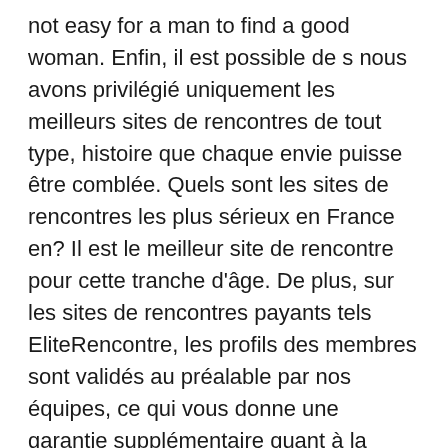not easy for a man to find a good woman. Enfin, il est possible de s nous avons privilégié uniquement les meilleurs sites de rencontres de tout type, histoire que chaque envie puisse être comblée. Quels sont les sites de rencontres les plus sérieux en France en? Il est le meilleur site de rencontre pour cette tranche d'âge. De plus, sur les sites de rencontres payants tels EliteRencontre, les profils des membres sont validés au préalable par nos équipes, ce qui vous donne une garantie supplémentaire quant à la qualité du site qu'est-ce que badoo? Les sites de rencontre sont un excellent moyen de rechercher des amis, des célibataires, des copains et toutes les catégories des personnes partageant avec vous le même centre d'intérêt éliterencontre. Happn application de rencontres dans la vraie vie. Meetic le leader des rencontres sérieuses au temps de meetic, toutes les personnes qui recherchent un compagnon